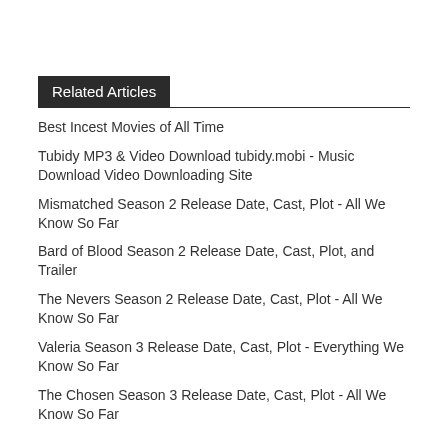Related Articles
Best Incest Movies of All Time
Tubidy MP3 & Video Download tubidy.mobi - Music Download Video Downloading Site
Mismatched Season 2 Release Date, Cast, Plot - All We Know So Far
Bard of Blood Season 2 Release Date, Cast, Plot, and Trailer
The Nevers Season 2 Release Date, Cast, Plot - All We Know So Far
Valeria Season 3 Release Date, Cast, Plot - Everything We Know So Far
The Chosen Season 3 Release Date, Cast, Plot - All We Know So Far